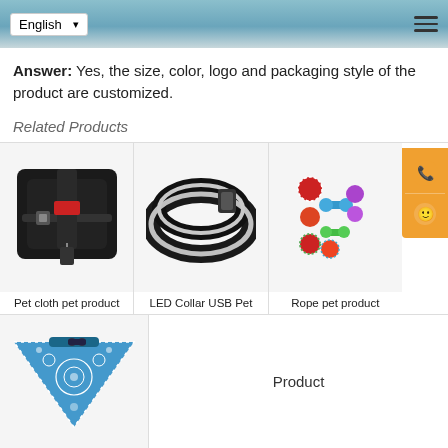English ▾  ☰
Answer: Yes, the size, color, logo and packaging style of the product are customized.
Related Products
[Figure (photo): Black dog harness vest with red patch and straps]
Pet cloth pet product
[Figure (photo): LED reflective dog collar with USB charging, black with silver strips]
LED Collar USB Pet
[Figure (photo): Colorful rope dog toys in bone and ball shapes — red, blue, green, purple]
Rope pet product
[Figure (photo): Blue bandana collar dog accessory with decorative pattern]
Product